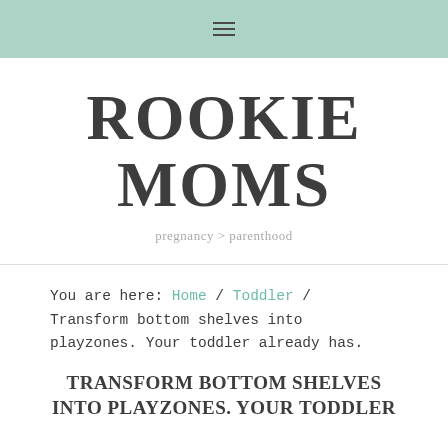☰ (hamburger menu icon)
ROOKIE MOMS
pregnancy > parenthood
You are here: Home / Toddler / Transform bottom shelves into playzones. Your toddler already has.
TRANSFORM BOTTOM SHELVES INTO PLAYZONES. YOUR TODDLER